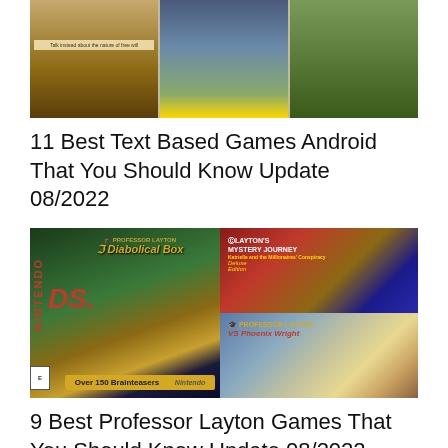[Figure (screenshot): Three mobile game screenshots showing text-based adventure game interface with dialogue choices]
11 Best Text Based Games Android That You Should Know Update 08/2022
[Figure (photo): Composite image showing Professor Layton Nintendo DS game box art (Professor Layton and the Diabolical Box), Layton's Mystery Journey Deluxe Edition, and Professor Layton vs Phoenix Wright game covers]
9 Best Professor Layton Games That You Should Know Update 08/2022